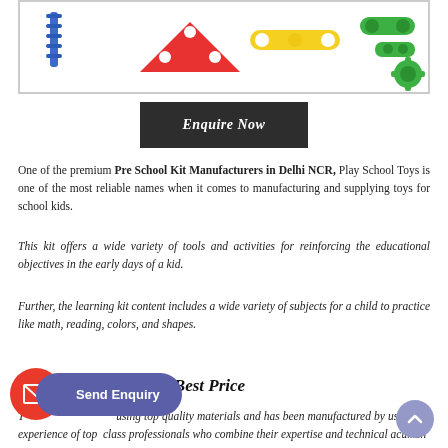[Figure (photo): Colorful plastic preschool toy building kit pieces including triangles, connectors, and screws in red, yellow, green, and blue colors inside a bordered box]
Enquire Now
One of the premium Pre School Kit Manufacturers in Delhi NCR, Play School Toys is one of the most reliable names when it comes to manufacturing and supplying toys for school kids.
This kit offers a wide variety of tools and activities for reinforcing the educational objectives in the early days of a kid.
Further, the learning kit content includes a wide variety of subjects for a child to practice like math, reading, colors, and shapes.
Buy Preschool Kits at Best Price
This kit is made using top quality materials and has been manufactured by using the experience of top class professionals who combine their expertise and technical acumen